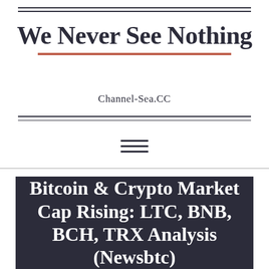We Never See Nothing
Channel-Sea.CC
Bitcoin & Crypto Market Cap Rising: LTC, BNB, BCH, TRX Analysis (Newsbtc)